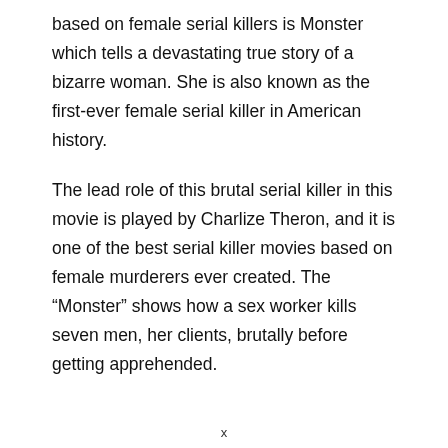based on female serial killers is Monster which tells a devastating true story of a bizarre woman. She is also known as the first-ever female serial killer in American history.
The lead role of this brutal serial killer in this movie is played by Charlize Theron, and it is one of the best serial killer movies based on female murderers ever created. The “Monster” shows how a sex worker kills seven men, her clients, brutally before getting apprehended.
x